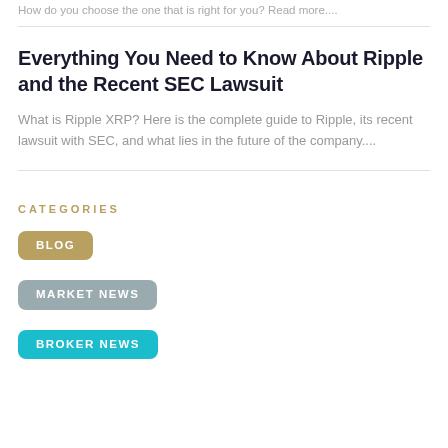How do you choose the one that is right for you? Read more....
Everything You Need to Know About Ripple and the Recent SEC Lawsuit
What is Ripple XRP? Here is the complete guide to Ripple, its recent lawsuit with SEC, and what lies in the future of the company....
CATEGORIES
BLOG
MARKET NEWS
BROKER NEWS